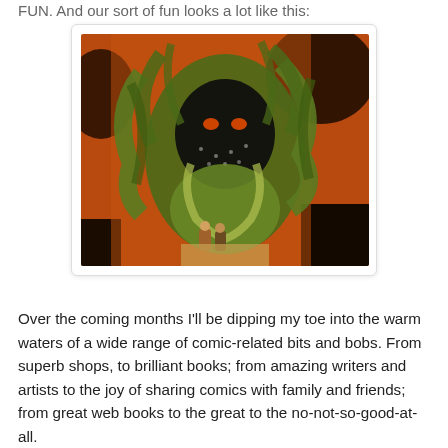FUN. And our sort of fun looks a lot like this:
[Figure (illustration): A large green creature made of vines and organic matter, looming over two small human figures at the bottom center. The background is orange and black. The creature has a dark face with glowing eyes and many tentacle-like appendages.]
Over the coming months I'll be dipping my toe into the warm waters of a wide range of comic-related bits and bobs. From superb shops, to brilliant books; from amazing writers and artists to the joy of sharing comics with family and friends; from great web books to the great to the no-not-so-good-at-all.